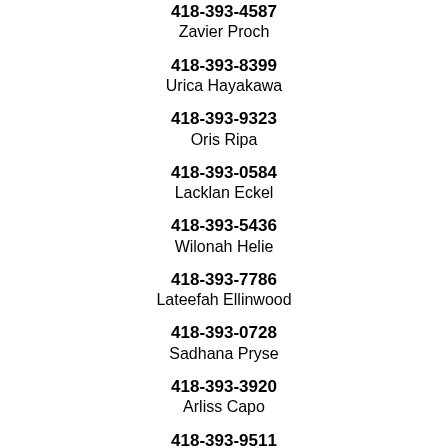418-393-4587
Zavier Proch
418-393-8399
Urica Hayakawa
418-393-9323
Oris Ripa
418-393-0584
Lacklan Eckel
418-393-5436
Wilonah Helie
418-393-7786
Lateefah Ellinwood
418-393-0728
Sadhana Pryse
418-393-3920
Arliss Capo
418-393-9511
Jermanne Puller